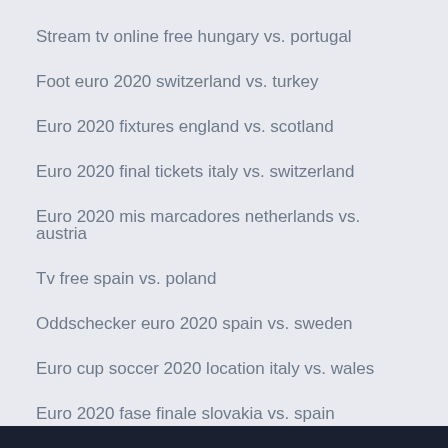Stream tv online free hungary vs. portugal
Foot euro 2020 switzerland vs. turkey
Euro 2020 fixtures england vs. scotland
Euro 2020 final tickets italy vs. switzerland
Euro 2020 mis marcadores netherlands vs. austria
Tv free spain vs. poland
Oddschecker euro 2020 spain vs. sweden
Euro cup soccer 2020 location italy vs. wales
Euro 2020 fase finale slovakia vs. spain